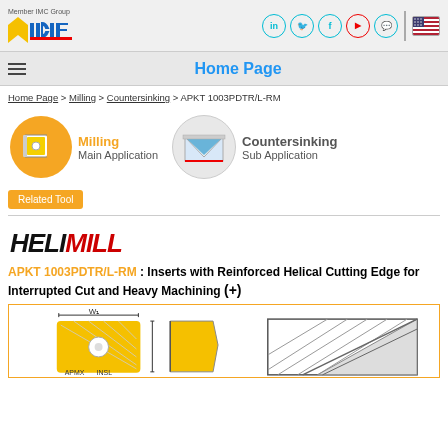[Figure (logo): ISCAR logo with Member IMC Group text and social media icons]
Home Page
Home Page > Milling > Countersinking > APKT 1003PDTR/L-RM
[Figure (illustration): Milling - Main Application icon: orange circle with milling insert illustration]
[Figure (illustration): Countersinking - Sub Application icon: grey circle with countersinking illustration]
Related Tool
[Figure (logo): HELIMILL logo in bold stylized text]
APKT 1003PDTR/L-RM : Inserts with Reinforced Helical Cutting Edge for Interrupted Cut and Heavy Machining (+)
[Figure (engineering-diagram): Technical drawing of APKT insert showing W1 dimension, APMX and INSL labels, side profile view, and cross-section diagram]